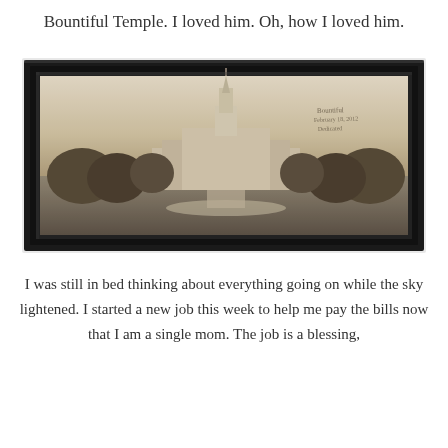Bountiful Temple. I loved him. Oh, how I loved him.
[Figure (photo): A framed panoramic sepia-toned photograph of the Bountiful Temple hanging on a light gray wall. The photo shows the temple with its tall spire, surrounding trees, and grounds. The frame is black and rectangular. There appears to be a handwritten inscription in the upper right of the photograph.]
I was still in bed thinking about everything going on while the sky lightened. I started a new job this week to help me pay the bills now that I am a single mom. The job is a blessing,